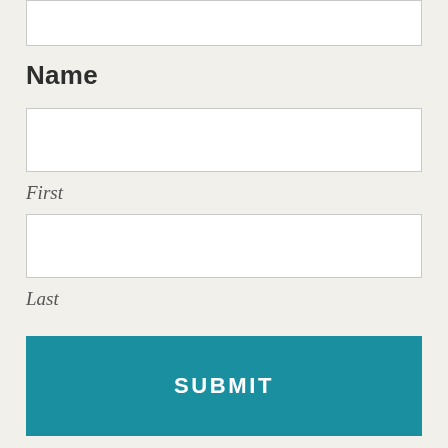[Figure (other): Empty text input field at top of form (partially visible, cropped at top)]
Name
[Figure (other): Empty text input field labeled First]
First
[Figure (other): Empty text input field labeled Last]
Last
[Figure (other): Submit button in teal color with SUBMIT text]